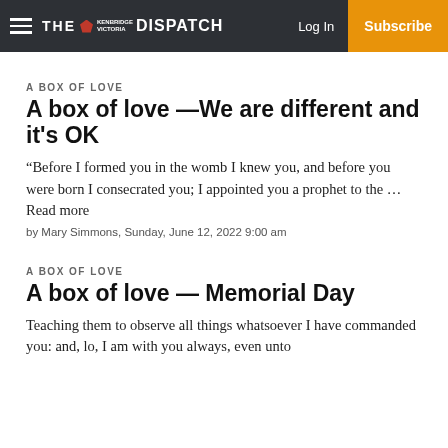THE KENBRIDGE VICTORIA DISPATCH | Log In | Subscribe
A BOX OF LOVE
A box of love —We are different and it's OK
“Before I formed you in the womb I knew you, and before you were born I consecrated you; I appointed you a prophet to the … Read more
by Mary Simmons, Sunday, June 12, 2022 9:00 am
A BOX OF LOVE
A box of love — Memorial Day
Teaching them to observe all things whatsoever I have commanded you: and, lo, I am with you always, even unto the end of the world. Amen.